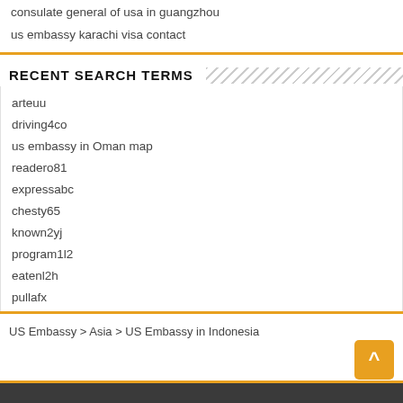consulate general of usa in guangzhou
us embassy karachi visa contact
RECENT SEARCH TERMS
arteuu
driving4co
us embassy in Oman map
readero81
expressabc
chesty65
known2yj
program1l2
eatenl2h
pullafx
US Embassy > Asia > US Embassy in Indonesia